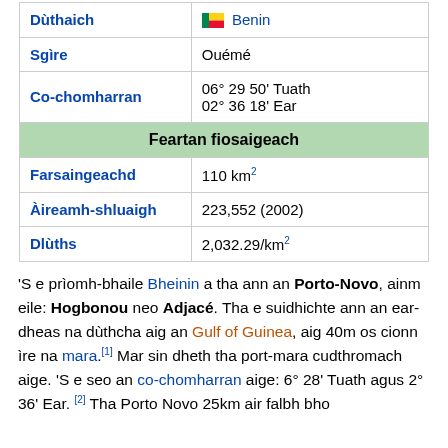| Dùthaich | 🇧🇯 Benin |
| Sgìre | Ouémé |
| Co-chomharran | 06° 29 50' Tuath
02° 36 18' Ear |
| Feartan fiosaigeach |  |
| Farsaingeachd | 110 km² |
| Àireamh-shluaigh | 223,552 (2002) |
| Dlùths | 2,032.29/km² |
'S e prìomh-bhaile Bheinin a tha ann an Porto-Novo, ainm eile: Hogbonou neo Adjacé. Tha e suidhichte ann an ear-dheas na dùthcha aig an Gulf of Guinea, aig 40m os cionn ìre na mara.[1] Mar sin dheth tha port-mara cudthromach aige. 'S e seo an co-chomharran aige: 6° 28' Tuath agus 2° 36' Ear. [2] Tha Porto Novo 25km air falbh bho